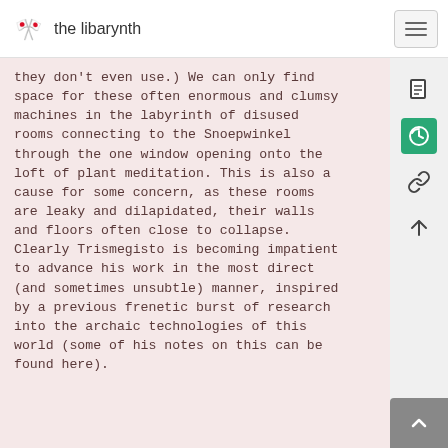the libarynth
they don't even use.) We can only find space for these often enormous and clumsy machines in the labyrinth of disused rooms connecting to the Snoepwinkel through the one window opening onto the loft of plant meditation. This is also a cause for some concern, as these rooms are leaky and dilapidated, their walls and floors often close to collapse. Clearly Trismegisto is becoming impatient to advance his work in the most direct (and sometimes unsubtle) manner, inspired by a previous frenetic burst of research into the archaic technologies of this world (some of his notes on this can be found here).